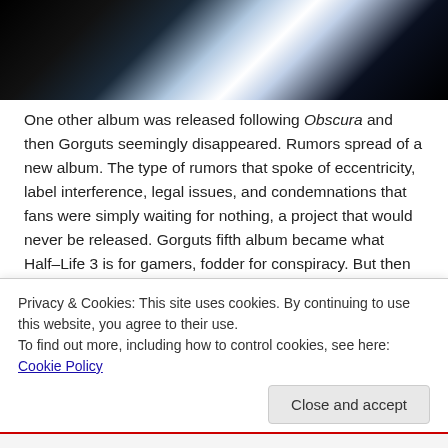[Figure (photo): Dark artistic photo with white/blue light streaks against black background, appearing to show abstract motion or a figure]
One other album was released following Obscura and then Gorguts seemingly disappeared. Rumors spread of a new album. The type of rumors that spoke of eccentricity, label interference, legal issues, and condemnations that fans were simply waiting for nothing, a project that would never be released. Gorguts fifth album became what Half–Life 3 is for gamers, fodder for conspiracy. But then this year Gorguts announced their signing with Seasons of Mist, a premier independent label for extreme metal from France, and shortly thereafter the
Privacy & Cookies: This site uses cookies. By continuing to use this website, you agree to their use.
To find out more, including how to control cookies, see here: Cookie Policy
Close and accept